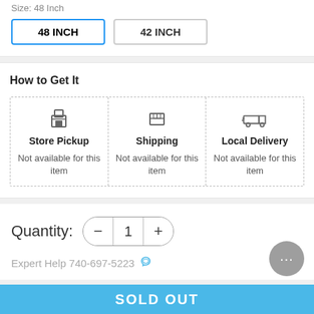Size: 48 Inch
48 INCH
42 INCH
How to Get It
Store Pickup
Not available for this item
Shipping
Not available for this item
Local Delivery
Not available for this item
Quantity: 1
Expert Help 740-697-5223
SOLD OUT